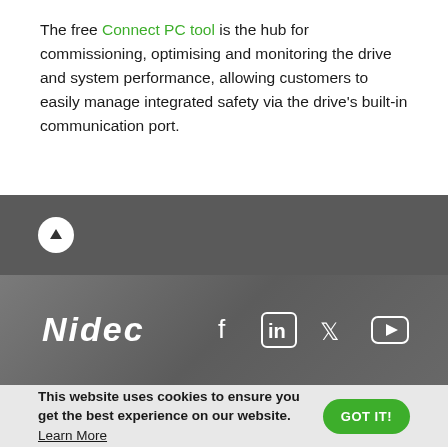The free Connect PC tool is the hub for commissioning, optimising and monitoring the drive and system performance, allowing customers to easily manage integrated safety via the drive's built-in communication port.
[Figure (other): Dark grey bar with white circle up-arrow button]
[Figure (logo): Nidec logo in white italic text on metallic grey background, with Facebook, LinkedIn, Twitter, and YouTube social media icons]
This website uses cookies to ensure you get the best experience on our website. Learn More. GOT IT! button.